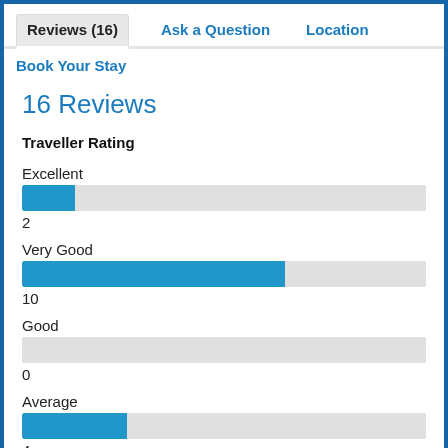Reviews (16)  Ask a Question  Location
Book Your Stay
16 Reviews
Traveller Rating
[Figure (bar-chart): Traveller Rating]
Excellent
2
Very Good
10
Good
0
Average
4
Poor